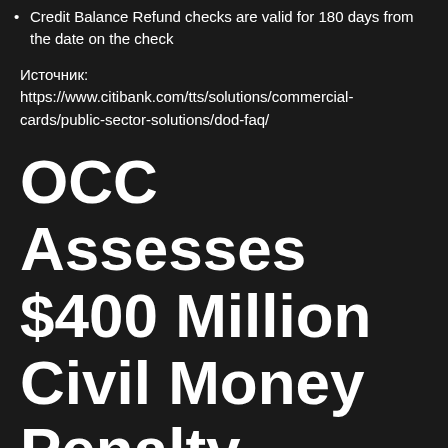Credit Balance Refund checks are valid for 180 days from the date on the check
Источник: https://www.citibank.com/tts/solutions/commercial-cards/public-sector-solutions/dod-faq/
OCC Assesses $400 Million Civil Money Penalty Against Citibank
WASHINGTON—The Office of the Comptroller of the